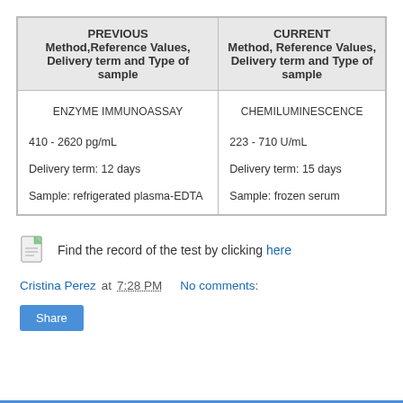| PREVIOUS
Method,Reference Values, Delivery term and Type of sample | CURRENT
Method, Reference Values, Delivery term and Type of sample |
| --- | --- |
| ENZYME IMMUNOASSAY
410 - 2620 pg/mL
Delivery term: 12 days
Sample: refrigerated plasma-EDTA | CHEMILUMINESCENCE
223 - 710 U/mL
Delivery term: 15 days
Sample: frozen serum |
Find the record of the test by clicking here
Cristina Perez at 7:28 PM   No comments:
Share